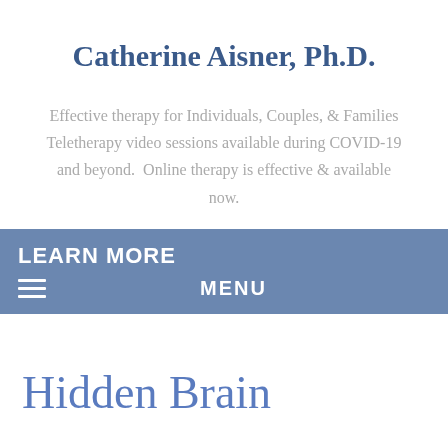Catherine Aisner, Ph.D.
Effective therapy for Individuals, Couples, & Families

Teletherapy video sessions available during COVID-19 and beyond.  Online therapy is effective & available now.
LEARN MORE
☰  MENU
Hidden Brain